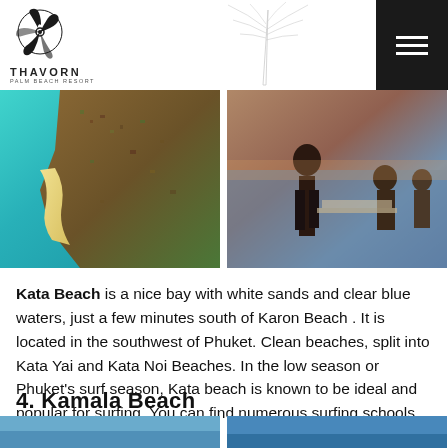THAVORN PALM BEACH RESORT
[Figure (photo): Aerial view of Kata Beach with turquoise water, white sand, and dense hillside development]
[Figure (photo): People dining outdoors on a beach at sunset, social gathering]
Kata Beach is a nice bay with white sands and clear blue waters, just a few minutes south of Karon Beach . It is located in the southwest of Phuket. Clean beaches, split into Kata Yai and Kata Noi Beaches. In the low season or Phuket's surf season, Kata beach is known to be ideal and popular for surfing. You can find numerous surfing schools along the beach.
4. Kamala Beach
[Figure (photo): Kamala Beach photo left]
[Figure (photo): Kamala Beach photo right]